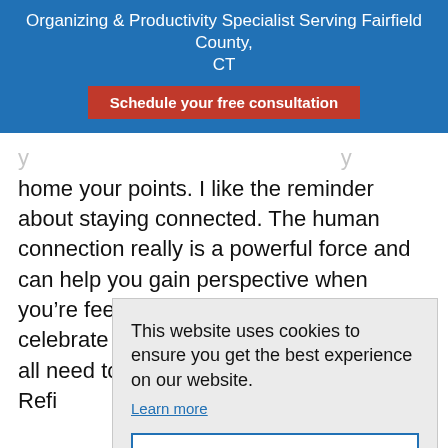Organizing & Productivity Specialist Serving Fairfield County, CT
Schedule your free consultation
home your points. I like the reminder about staying connected. The human connection really is a powerful force and can help you gain perspective when you're feeling low. Also, the point to celebrate every victory is something we all need to remind ourselves to do. Reframing this and... the positive... will boo...
This website uses cookies to ensure you get the best experience on our website.
Learn more
Got it